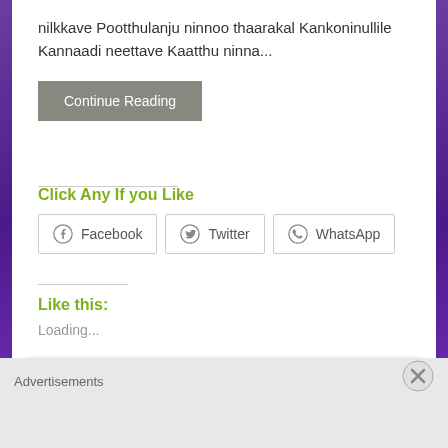nilkkave Pootthulanju ninnoo thaarakal Kankoninullile Kannaadi neettave Kaatthu ninna...
Continue Reading
Click Any If you Like
Facebook  Twitter  WhatsApp
Like this:
Loading...
Category: Hridayam (2022)  Tags: 2022,
Advertisements